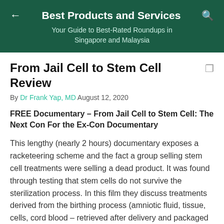Best Products and Services
Your Guide to Best-Rated Roundups in Singapore and Malaysia
From Jail Cell to Stem Cell Review
By Dr Frank Yap, MD August 12, 2020
FREE Documentary – From Jail Cell to Stem Cell: The Next Con For the Ex-Con Documentary
This lengthy (nearly 2 hours) documentary exposes a racketeering scheme and the fact a group selling stem cell treatments were selling a dead product. It was found through testing that stem cells do not survive the sterilization process. In this film they discuss treatments derived from the birthing process (amniotic fluid, tissue, cells, cord blood – retrieved after delivery and packaged as 'regenerative